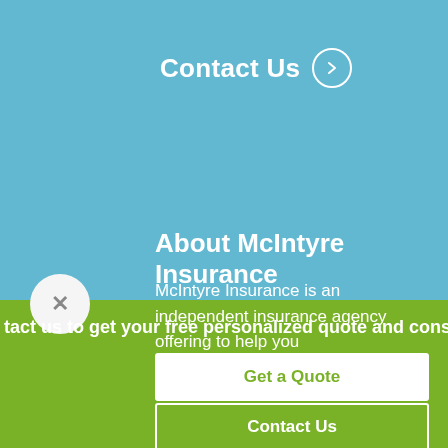Contact Us
About McIntyre Insurance
McIntyre Insurance is an independent insurance agency offering to help you
tact us to get your free personalized quote and consult
Get a Quote
Contact Us